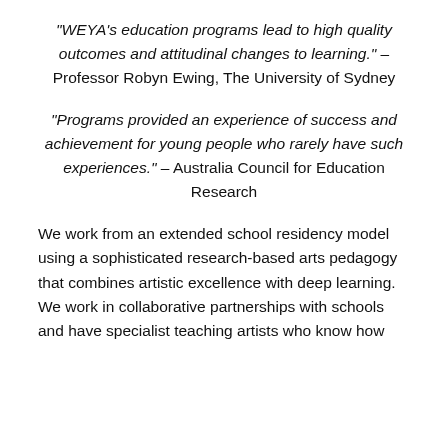“WEYA’s education programs lead to high quality outcomes and attitudinal changes to learning.” – Professor Robyn Ewing, The University of Sydney
“Programs provided an experience of success and achievement for young people who rarely have such experiences.” – Australia Council for Education Research
We work from an extended school residency model using a sophisticated research-based arts pedagogy that combines artistic excellence with deep learning. We work in collaborative partnerships with schools and have specialist teaching artists who know how